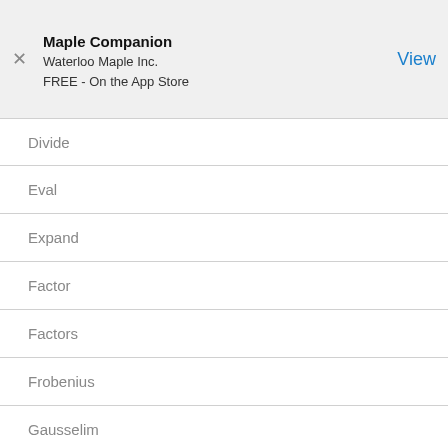Maple Companion
Waterloo Maple Inc.
FREE - On the App Store
Divide
Eval
Expand
Factor
Factors
Frobenius
Gausselim
Gaussjord
Gcd